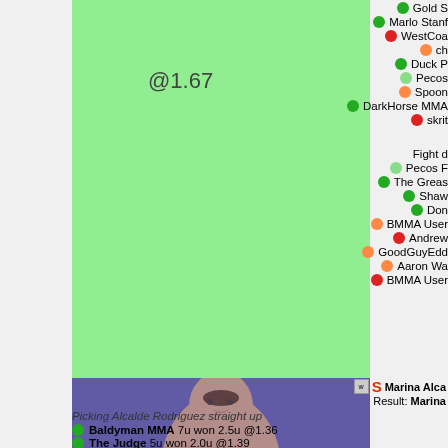[Figure (infographic): Green bar chart element showing odds @1.67]
@1.67
[Figure (photo): Photo of female MMA fighter Marina Alcalde]
Gold S
Marlo Stanf
WestCoa
ch
Duck P
Pecos
Spoon
DarkHorse MMA
skrit
Fight d
Pecos F
The Greas
Shaw
Don
BMMA User
Andrew
GoodGuyEdd
Aaron Wa
BMMA User
W S Marina Alca
Result: Marina
Picking Alcalde Rodriguez straight up
Baldyman MMA 7u won 2.5u @1.36
The Judge 5u won 2.0u @1.39